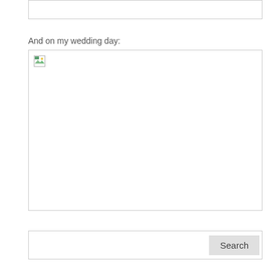And on my wedding day:
[Figure (photo): A broken/missing image placeholder with a small broken image icon in the top-left corner, inside a bordered rectangle.]
Search